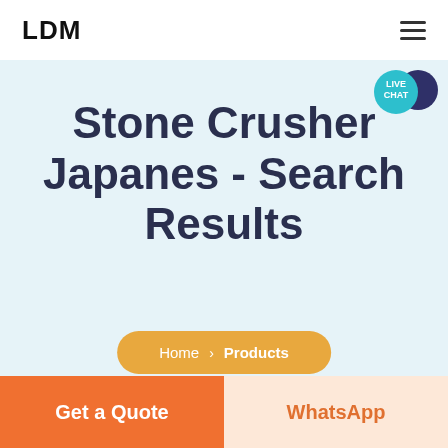LDM
Stone Crusher Japanes - Search Results
Home > Products
Get a Quote
WhatsApp